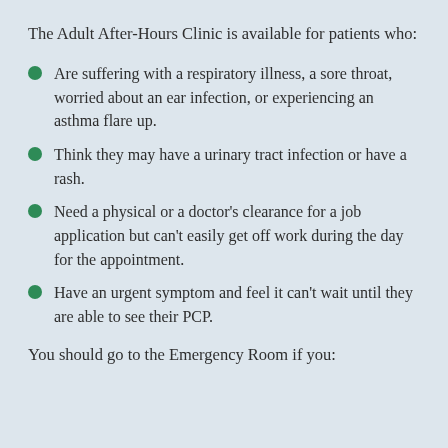The Adult After-Hours Clinic is available for patients who:
Are suffering with a respiratory illness, a sore throat, worried about an ear infection, or experiencing an asthma flare up.
Think they may have a urinary tract infection or have a rash.
Need a physical or a doctor's clearance for a job application but can't easily get off work during the day for the appointment.
Have an urgent symptom and feel it can't wait until they are able to see their PCP.
You should go to the Emergency Room if you: